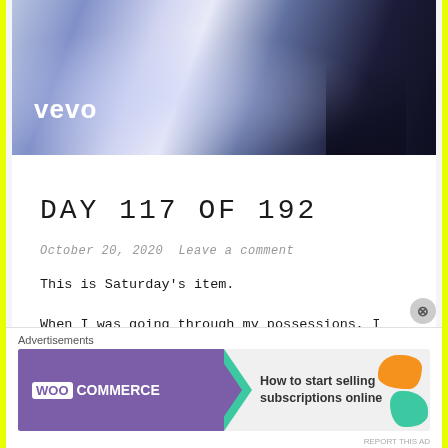[Figure (photo): Vevo music video thumbnail with a figure in a dramatic stage setting with blue/purple lighting and the Vevo logo in white in the lower left]
DAY 117 OF 192
October 20, 2020  Leave a comment
This is Saturday's item.
When I was going through my possessions, I
[Figure (infographic): WooCommerce advertisement banner: How to start selling subscriptions online]
Advertisements